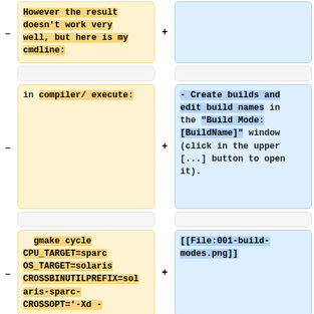However the result doesn't work very well, but here is my cmdline:
in compiler/ execute:
- Create builds and edit build names in the "Build Mode: [BuildName]" window (click in the upper [...] button to open it).
gmake cycle CPU_TARGET=sparc OS_TARGET=solaris CROSSBINUTILPREFIX=solaris-sparc- CROSSOPT='-Xd -
[[File:001-build-modes.png]]